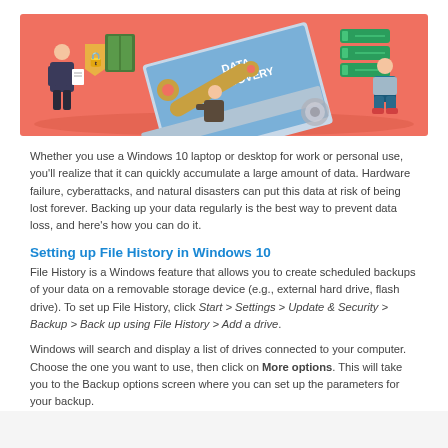[Figure (illustration): Isometric illustration of data recovery concept showing people working around a laptop with 'DATA RECOVERY' text on screen, with server stacks, wrench, and security shield on a coral/salmon colored background.]
Whether you use a Windows 10 laptop or desktop for work or personal use, you'll realize that it can quickly accumulate a large amount of data. Hardware failure, cyberattacks, and natural disasters can put this data at risk of being lost forever. Backing up your data regularly is the best way to prevent data loss, and here's how you can do it.
Setting up File History in Windows 10
File History is a Windows feature that allows you to create scheduled backups of your data on a removable storage device (e.g., external hard drive, flash drive). To set up File History, click Start > Settings > Update & Security > Backup > Back up using File History > Add a drive.
Windows will search and display a list of drives connected to your computer. Choose the one you want to use, then click on More options. This will take you to the Backup options screen where you can set up the parameters for your backup.